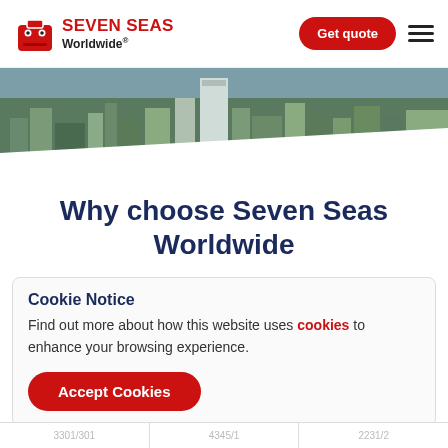[Figure (logo): Seven Seas Worldwide logo with red suitcase icon and text]
[Figure (photo): Aerial city skyline photo used as hero banner]
Why choose Seven Seas Worldwide
Cookie Notice
Find out more about how this website uses cookies to enhance your browsing experience.
Accept Cookies